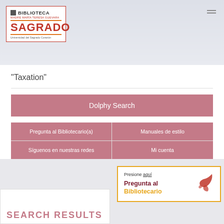[Figure (logo): Biblioteca Madre María Teresa Guevara Sagrado - Universidad del Sagrado Corazón logo with red border]
"Taxation"
Dolphy Search
Pregunta al Bibliotecario(a)
Manuales de estilo
Síguenos en nuestras redes
Mi cuenta
[Figure (screenshot): Chat popup box with bird logo: Presione aquí / Pregunta al Bibliotecario]
SEARCH RESULTS